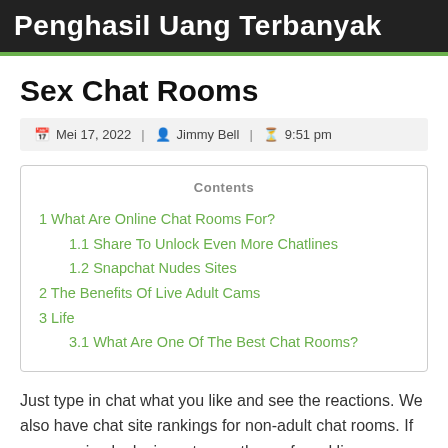Penghasil Uang Terbanyak
Sex Chat Rooms
Mei 17, 2022 | Jimmy Bell | 9:51 pm
1 What Are Online Chat Rooms For?
1.1 Share To Unlock Even More Chatlines
1.2 Snapchat Nudes Sites
2 The Benefits Of Live Adult Cams
3 Life
3.1 What Are One Of The Best Chat Rooms?
Just type in chat what you like and see the reactions. We also have chat site rankings for non-adult chat rooms. If you are simply desirous to see the preferred live sex webcam sites then try our desk of the highest 10 adult cams. I know you'll take pleasure in my